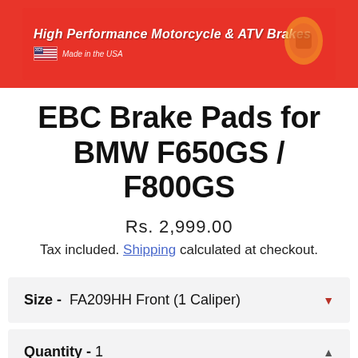[Figure (photo): Red EBC Brakes product packaging showing 'High Performance Motorcycle & ATV Brakes' text with USA flag and brake pad image]
EBC Brake Pads for BMW F650GS / F800GS
Rs. 2,999.00
Tax included. Shipping calculated at checkout.
Size -  FA209HH Front (1 Caliper)
Quantity - 1